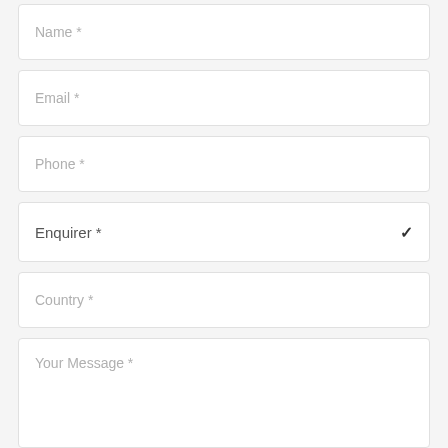Name *
Email *
Phone *
Enquirer *
Country *
Your Message *